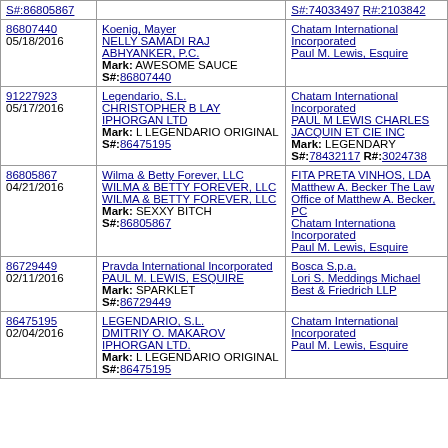| Serial/Date | Applicant/Mark | Opposer/Counsel |
| --- | --- | --- |
| 86807440
05/18/2016 | Koenig, Mayer
NELLY SAMADI RAJ ABHYANKER, P.C.
Mark: AWESOME SAUCE
S#:86807440 | Chatam International Incorporated
Paul M. Lewis, Esquire |
| 91227923
05/17/2016 | Legendario, S.L.
CHRISTOPHER B LAY
IPHORGAN LTD
Mark: L LEGENDARIO ORIGINAL S#:86475195 | Chatam International Incorporated
PAUL M LEWIS CHARLES JACQUIN ET CIE INC
Mark: LEGENDARY
S#:78432117 R#:3024738 |
| 86805867
04/21/2016 | Wilma & Betty Forever, LLC
WILMA & BETTY FOREVER, LLC WILMA & BETTY FOREVER, LLC
Mark: SEXXY BITCH
S#:86805867 | FITA PRETA VINHOS, LDA
Matthew A. Becker The Law Office of Matthew A. Becker, PC
Chatam Internationa Incorporated
Paul M. Lewis, Esquire |
| 86729449
02/11/2016 | Pravda International Incorporated
PAUL M. LEWIS, ESQUIRE
Mark: SPARKLET
S#:86729449 | Bosca S.p.a.
Lori S. Meddings Michael Best & Friedrich LLP |
| 86475195
02/04/2016 | LEGENDARIO, S.L.
DMITRIY O. MAKAROV
IPHORGAN LTD.
Mark: L LEGENDARIO ORIGINAL S#:86475195 | Chatam International Incorporated
Paul M. Lewis, Esquire |